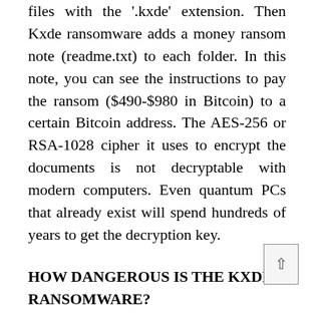files with the '.kxde' extension. Then Kxde ransomware adds a money ransom note (readme.txt) to each folder. In this note, you can see the instructions to pay the ransom ($490-$980 in Bitcoin) to a certain Bitcoin address. The AES-256 or RSA-1028 cipher it uses to encrypt the documents is not decryptable with modern computers. Even quantum PCs that already exist will spend hundreds of years to get the decryption key.
HOW DANGEROUS IS THE KXDE RANSOMWARE?
When Kxde ransomware appears on your PC, it will examine your disks for images, videos, and important documents. It